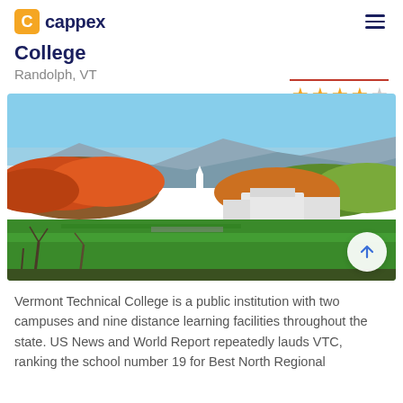cappex
College
Randolph, VT
[Figure (photo): Autumn aerial view of Vermont Technical College campus in Randolph, VT, with colorful fall foliage, green fields, and mountains in the background.]
Vermont Technical College is a public institution with two campuses and nine distance learning facilities throughout the state. US News and World Report repeatedly lauds VTC, ranking the school number 19 for Best North Regional